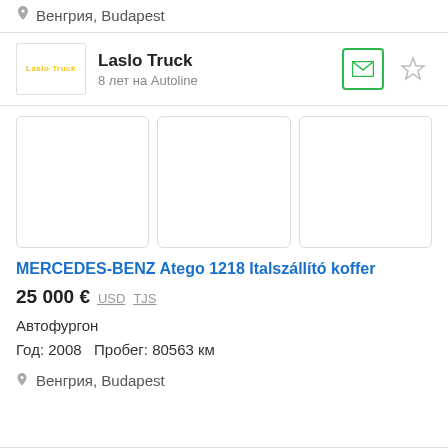Венгрия, Budapest
[Figure (logo): Laslo Truck dealer logo]
Laslo Truck
8 лет на Autoline
[Figure (photo): Three image placeholders for vehicle listing]
MERCEDES-BENZ Atego 1218 Italszállító koffer
25 000 €  USD  TJS
Автофургон
Год: 2008   Пробег: 80563 км
Венгрия, Budapest